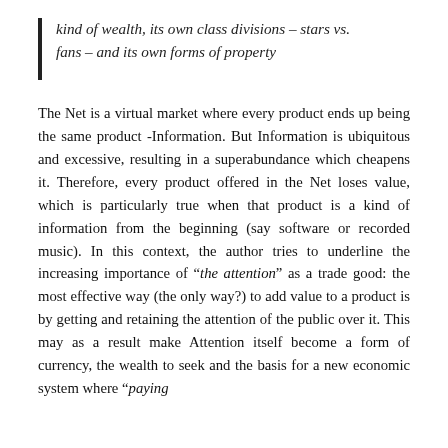kind of wealth, its own class divisions – stars vs. fans – and its own forms of property
The Net is a virtual market where every product ends up being the same product -Information. But Information is ubiquitous and excessive, resulting in a superabundance which cheapens it. Therefore, every product offered in the Net loses value, which is particularly true when that product is a kind of information from the beginning (say software or recorded music). In this context, the author tries to underline the increasing importance of "the attention" as a trade good: the most effective way (the only way?) to add value to a product is by getting and retaining the attention of the public over it. This may as a result make Attention itself become a form of currency, the wealth to seek and the basis for a new economic system where "paying